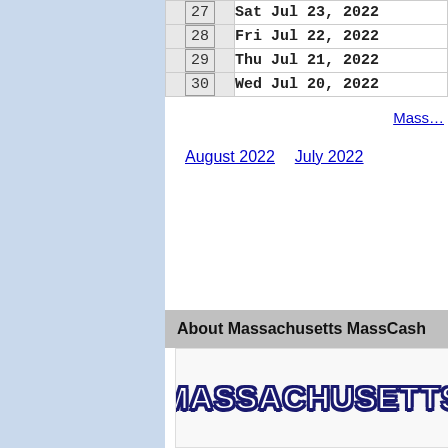| # | Date |
| --- | --- |
| 27 | Sat Jul 23, 2022 |
| 28 | Fri Jul 22, 2022 |
| 29 | Thu Jul 21, 2022 |
| 30 | Wed Jul 20, 2022 |
Mass…
August 2022    July 2022
About Massachusetts MassCash
[Figure (logo): Massachusetts lottery logo text in decorative font]